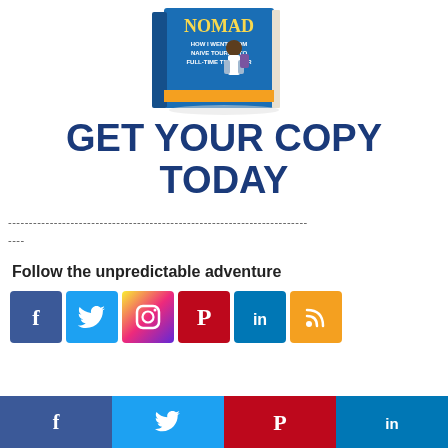[Figure (photo): Book cover of 'Nomad: How I Went From Naive Tourist to Full-Time Traveler' showing a cartoon illustration of a man with a backpack on a blue background]
GET YOUR COPY TODAY
------------------------------------------------------------------------ ----
Follow the unpredictable adventure
[Figure (infographic): Row of social media icons: Facebook (blue), Twitter (light blue), Instagram (gradient), Pinterest (red), LinkedIn (blue), RSS (orange)]
[Figure (infographic): Bottom share bar with four sections: Facebook (dark blue, f icon), Twitter (light blue, bird icon), Pinterest (red, P icon), LinkedIn (blue, in icon)]